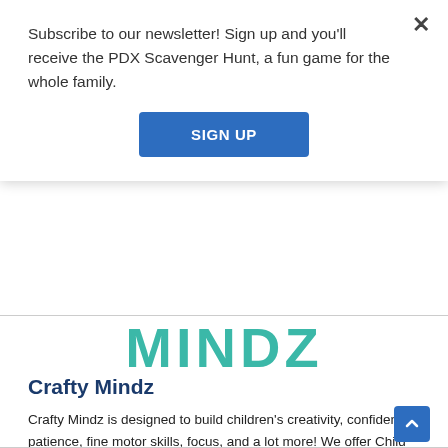Subscribe to our newsletter! Sign up and you'll receive the PDX Scavenger Hunt, a fun game for the whole family.
SIGN UP
[Figure (logo): Partial teal logo letters 'MINDZ' visible behind overlay]
Crafty Mindz
Crafty Mindz is designed to build children's creativity, confidence, patience, fine motor skills, focus, and a lot more! We offer Child Care, Before and After School [...]
Address: 1150 Southwest 170th Avenue, Beaverton, OR, USA, Suite 100 97006
3513 NW 164th Ter 97006